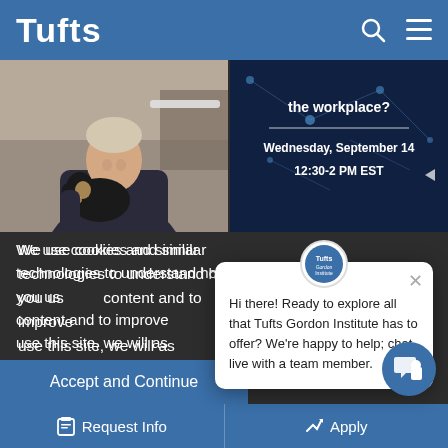Tufts
[Figure (photo): Man in dark shirt smiling and holding a small black and tan puppy]
[Figure (infographic): Dark blue background event card with text: the workplace? Wednesday, September 14 12:30-2 PM EST]
We use cookies and similar technologies to understand how you use our content and to improve your experience. If you use this site, we will assume that you are okay with all of these technologies and our Privacy Statement.
[Figure (screenshot): Chat popup overlay with Tufts Gordon Institute logo. Text: Hi there! Ready to explore all that Tufts Gordon Institute has to offer? We're happy to help; chat live with a team member.]
Accept and Continue
Request Info   Apply